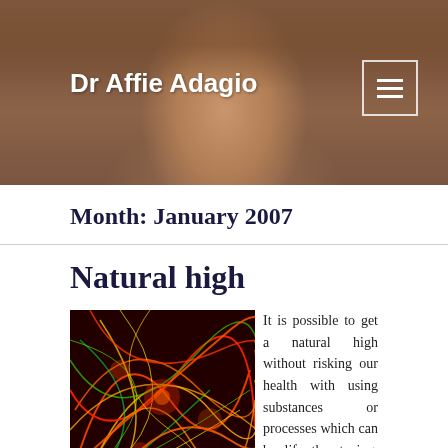Dr Affie Adagio
Month: January 2007
Natural high
[Figure (photo): Abstract swirling light trails in red, orange, green, and yellow on a dark background]
It is possible to get a natural high without risking our health with using substances or processes which can be life threatening. Some people can reach a natural high easier because of their genetic make-up. Nevertheless, there are many testimonials about how once people came into recovery from